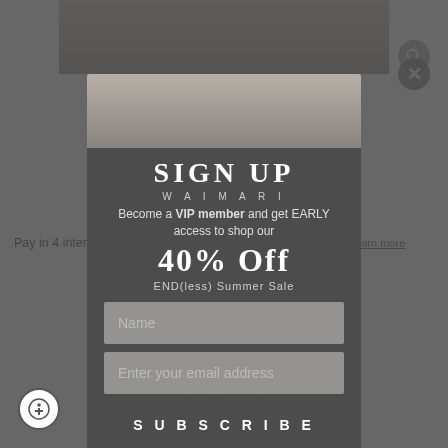[Figure (screenshot): Product page screenshot showing Rosie Dress White with pricing and shop pay info in background, overlaid by a signup modal popup for WAIMARI brand]
SIGN UP
WAIMARI
Become a VIP member and get EARLY access to shop our
40% Off
END(less) Summer Sale
Name
Enter your email address
SUBSCRIBE